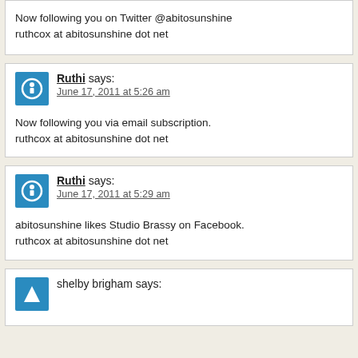Now following you on Twitter @abitosunshine
ruthcox at abitosunshine dot net
Ruthi says:
June 17, 2011 at 5:26 am
Now following you via email subscription.
ruthcox at abitosunshine dot net
Ruthi says:
June 17, 2011 at 5:29 am
abitosunshine likes Studio Brassy on Facebook.
ruthcox at abitosunshine dot net
shelby brigham says: